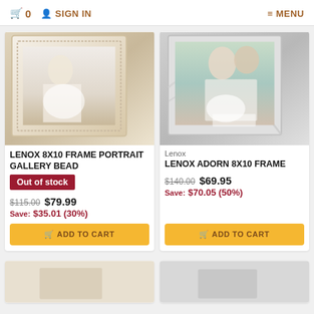🛒 0  👤 SIGN IN   ≡ MENU
[Figure (photo): Lenox 8x10 Portrait Gallery Bead picture frame, silver/white beaded border, with a wedding couple photo inside]
LENOX 8x10 FRAME PORTRAIT GALLERY BEAD
Out of stock
$115.00  $79.99
Save: $35.01 (30%)
ADD TO CART
Lenox
[Figure (photo): Lenox Adorn 8x10 picture frame, silver with curved line design, with a wedding couple photo inside]
LENOX ADORN 8X10 FRAME
$140.00  $69.95
Save: $70.05 (50%)
ADD TO CART